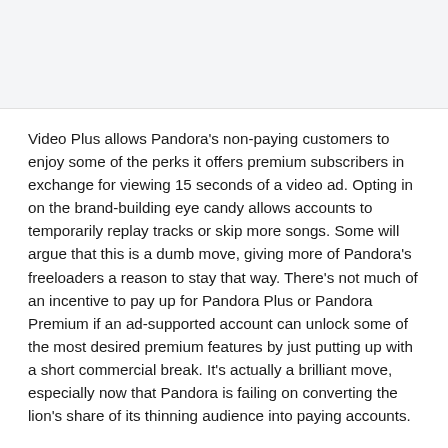[Figure (other): Light gray image placeholder area at the top of the page]
Video Plus allows Pandora's non-paying customers to enjoy some of the perks it offers premium subscribers in exchange for viewing 15 seconds of a video ad. Opting in on the brand-building eye candy allows accounts to temporarily replay tracks or skip more songs. Some will argue that this is a dumb move, giving more of Pandora's freeloaders a reason to stay that way. There's not much of an incentive to pay up for Pandora Plus or Pandora Premium if an ad-supported account can unlock some of the most desired premium features by just putting up with a short commercial break. It's actually a brilliant move, especially now that Pandora is failing on converting the lion's share of its thinning audience into paying accounts.
Pumping up the volume